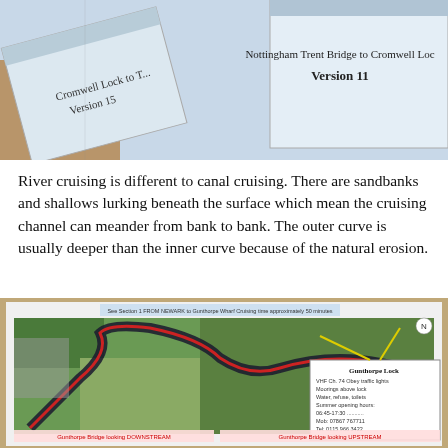[Figure (photo): Two printed boating guide booklets on a table. One reads 'Cromwell Lock to ...' Version 15, the other reads 'Nottingham Trent Bridge to Cromwell Lock' Version 11.]
River cruising is different to canal cruising. There are sandbanks and shallows lurking beneath the surface which mean the cruising channel can meander from bank to bank. The outer curve is usually deeper than the inner curve because of the natural erosion.
[Figure (photo): A printed navigational chart/map showing the River Trent with an aerial view. The map shows a winding river with a red/black route marked. Annotations include 'Gunthorpe Lock' information box with details about moorings, water, refuse, toilets, and phone numbers. There are also labels for 'Gunthorpe Bridge looking DOWNSTREAM' and 'Gunthorpe Bridge looking UPSTREAM'.]